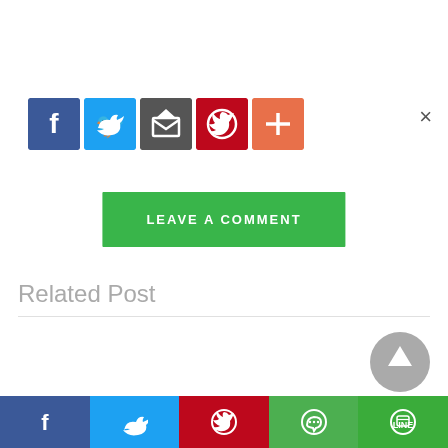[Figure (screenshot): Social share button bar with Facebook (blue), Twitter (blue), Email/share (dark gray), Pinterest (red), and plus/more (orange-red) icons]
×
[Figure (screenshot): Green button labeled LEAVE A COMMENT]
Related Post
[Figure (screenshot): Gray circular scroll-to-top arrow button]
[Figure (screenshot): Bottom social share bar with Facebook, Twitter, Pinterest, WhatsApp, and LINE buttons]